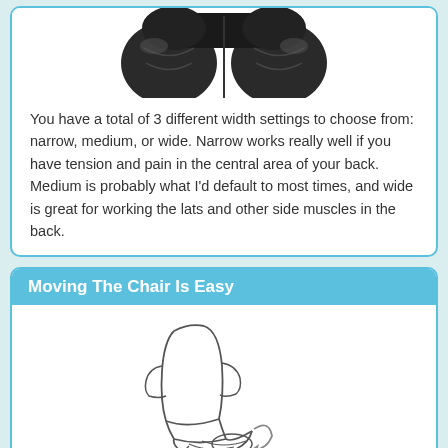[Figure (photo): Close-up photo of black massage chair headrest/rollers from above]
You have a total of 3 different width settings to choose from: narrow, medium, or wide. Narrow works really well if you have tension and pain in the central area of your back. Medium is probably what I'd default to most times, and wide is great for working the lats and other side muscles in the back.
Moving The Chair Is Easy
[Figure (illustration): Line drawing illustration of a massage chair with footrest extended and an arrow indicating rotation/movement]